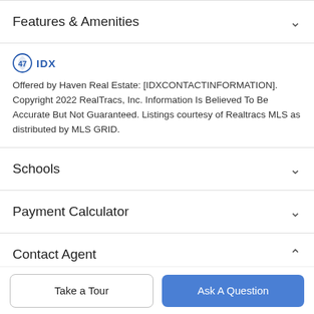Features & Amenities
[Figure (logo): IDX logo with shield icon and text 'IDX']
Offered by Haven Real Estate: [IDXCONTACTINFORMATION]. Copyright 2022 RealTracs, Inc. Information Is Believed To Be Accurate But Not Guaranteed. Listings courtesy of Realtracs MLS as distributed by MLS GRID.
Schools
Payment Calculator
Contact Agent
[Figure (photo): Partial circular agent photo at bottom]
Take a Tour
Ask A Question